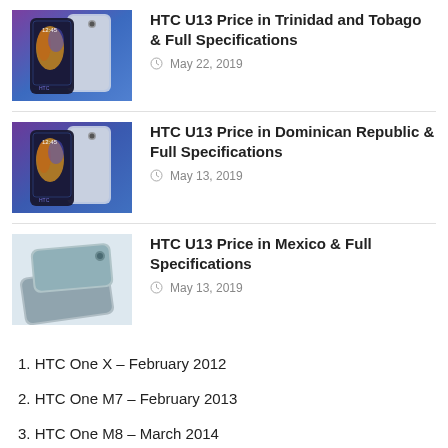[Figure (photo): HTC U13 smartphone shown from front and back in blue/purple colorway]
HTC U13 Price in Trinidad and Tobago & Full Specifications
May 22, 2019
[Figure (photo): HTC U13 smartphone shown from front and back in blue/purple colorway]
HTC U13 Price in Dominican Republic & Full Specifications
May 13, 2019
[Figure (photo): HTC U13 smartphone shown in silver/gray colorway from back]
HTC U13 Price in Mexico & Full Specifications
May 13, 2019
1. HTC One X – February 2012
2. HTC One M7 – February 2013
3. HTC One M8 – March 2014